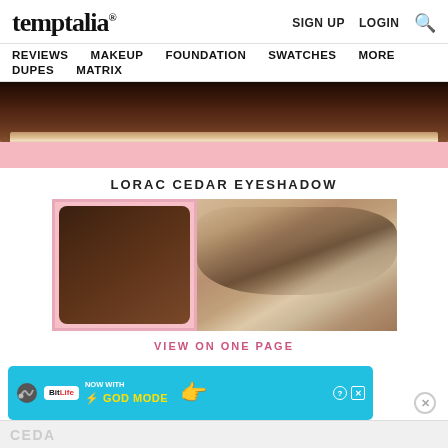temptalia® | SIGN UP  LOGIN  🔍
REVIEWS  MAKEUP  FOUNDATION  SWATCHES  MORE  DUPES  MATRIX
[Figure (photo): Close-up macro photo of a brown leather or fabric strap/cover of a makeup palette against a pink background]
LORAC CEDAR EYESHADOW
[Figure (photo): Two-part product image: left shows LORAC Cedar eyeshadow pan in a pink-bordered compact with a dark brown matte shadow; right shows a skin swatch of the eyeshadow applied in a soft taupe/brown stroke]
VIEW ON ONE PAGE
[Figure (screenshot): BitLife mobile game advertisement banner: cyan background with BitLife logo, text 'NOW WITH GOD MODE' in yellow, lightning bolt icon, hand pointing graphic, and close (X) button]
CEDA